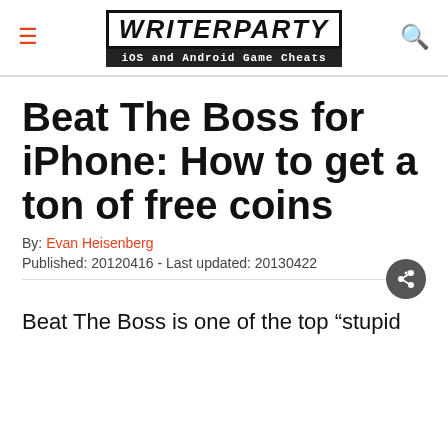WRITERPARTY iOS and Android Game Cheats
Beat The Boss for iPhone: How to get a ton of free coins
By: Evan Heisenberg
Published: 20120416 - Last updated: 20130422
Beat The Boss is one of the top “stupid